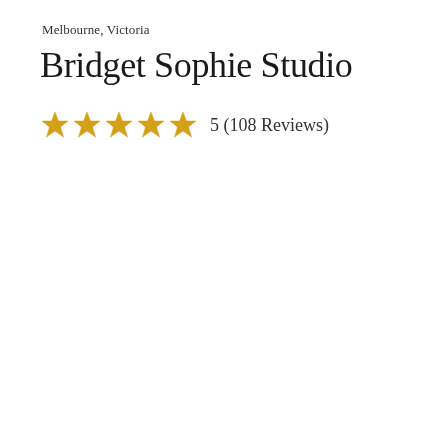Melbourne, Victoria
Bridget Sophie Studio
5 (108 Reviews)